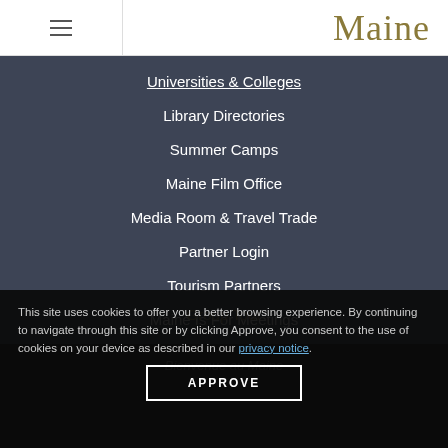Maine
Universities & Colleges
Library Directories
Summer Camps
Maine Film Office
Media Room & Travel Trade
Partner Login
Tourism Partners
Maine Is For Meetings
Group Tour
Bienvenue au Maine
This site uses cookies to offer you a better browsing experience. By continuing to navigate through this site or by clicking Approve, you consent to the use of cookies on your device as described in our privacy notice.
APPROVE